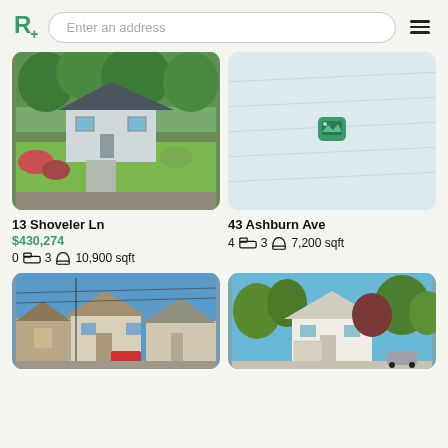R+ | Enter an address | ☰
[Figure (photo): Aerial/street view photo of house at 13 Shoveler Ln with green lawn and trees]
[Figure (map): Map placeholder with diagonal lines and green image icon marker for 43 Ashburn Ave]
13 Shoveler Ln
$430,274
0 [bed] 3 [bath] 10,900 sqft
43 Ashburn Ave
4 [bed] 3 [bath] 7,200 sqft
[Figure (photo): Street view photo of coastal neighborhood houses under blue sky]
[Figure (photo): Photo of residential house with trees and white exterior under blue sky]